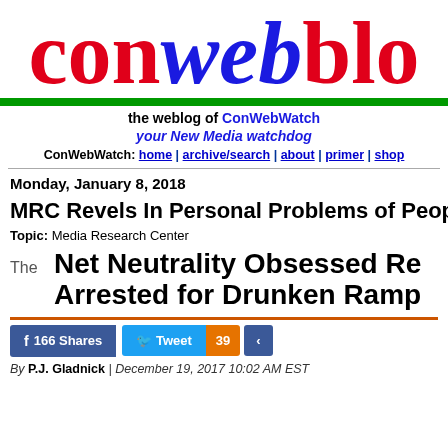[Figure (logo): ConWebBlog logo: 'con' in red, 'web' in blue italic, 'blo' in red (cropped), large serif font]
the weblog of ConWebWatch
your New Media watchdog
ConWebWatch: home | archive/search | about | primer | shop
Monday, January 8, 2018
MRC Revels In Personal Problems of People
Topic: Media Research Center
The  Net Neutrality Obsessed Re... Arrested for Drunken Ramp...
f 166 Shares  Tweet  39  <share>
By P.J. Gladnick | December 19, 2017 10:02 AM EST